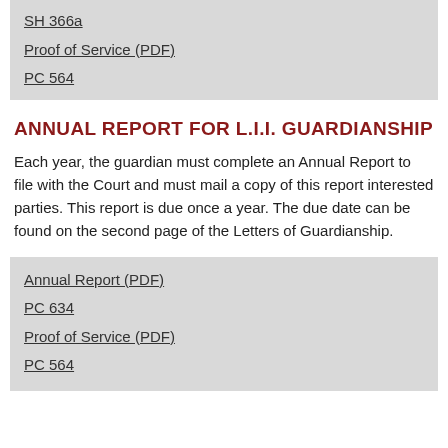SH 366a
Proof of Service (PDF)
PC 564
ANNUAL REPORT FOR L.I.I. GUARDIANSHIP
Each year, the guardian must complete an Annual Report to file with the Court and must mail a copy of this report interested parties. This report is due once a year. The due date can be found on the second page of the Letters of Guardianship.
Annual Report (PDF)
PC 634
Proof of Service (PDF)
PC 564